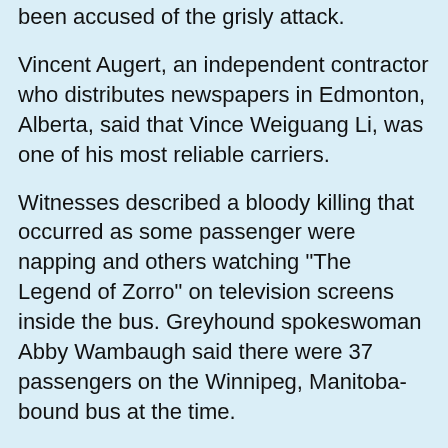been accused of the grisly attack.
Vincent Augert, an independent contractor who distributes newspapers in Edmonton, Alberta, said that Vince Weiguang Li, was one of his most reliable carriers.
Witnesses described a bloody killing that occurred as some passenger were napping and others watching "The Legend of Zorro" on television screens inside the bus. Greyhound spokeswoman Abby Wambaugh said there were 37 passengers on the Winnipeg, Manitoba-bound bus at the time.
Shortly after passengers reboarded following a break, the suspect - for no apparent reason - stabbed the man sitting next to him several dozen times as others fled in horror, witnesses said. He then severed the man's head, displayed it and began hacking at the body.
Authorities have not released the victim's name